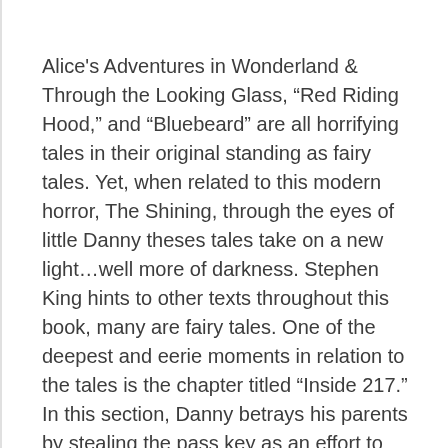Alice's Adventures in Wonderland & Through the Looking Glass, “Red Riding Hood,” and “Bluebeard” are all horrifying tales in their original standing as fairy tales. Yet, when related to this modern horror, The Shining, through the eyes of little Danny theses tales take on a new light…well more of darkness. Stephen King hints to other texts throughout this book, many are fairy tales. One of the deepest and eerie moments in relation to the tales is the chapter titled “Inside 217.” In this section, Danny betrays his parents by stealing the pass key as an effort to calm his curiosity, “…curiosity killed that cat and it was the HOPE of satisfaction that brought him” (King 317). Danny soon realizes the magnitude of this ancient proverb as he adventures… show